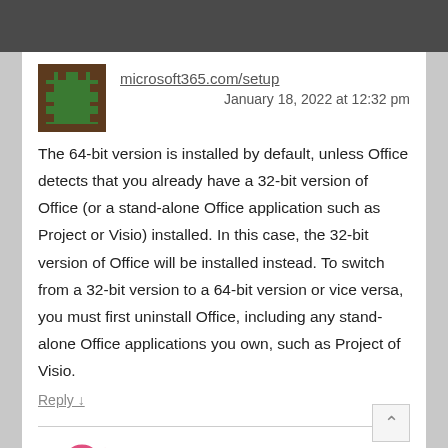microsoft365.com/setup
January 18, 2022 at 12:32 pm
The 64-bit version is installed by default, unless Office detects that you already have a 32-bit version of Office (or a stand-alone Office application such as Project or Visio) installed. In this case, the 32-bit version of Office will be installed instead. To switch from a 32-bit version to a 64-bit version or vice versa, you must first uninstall Office, including any stand-alone Office applications you own, such as Project of Visio.
Reply ↓
Sexologist in Delhi
March 1, 2022 at 6:04 am
Your article so unique and usefull and thanx for sharing this content.